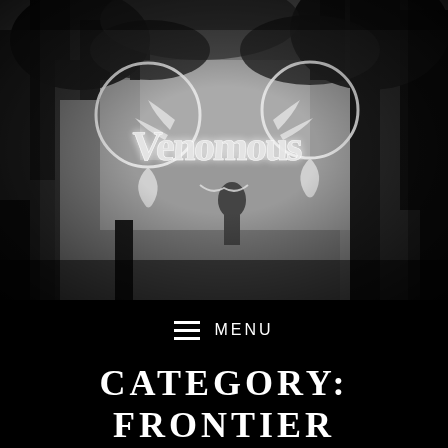[Figure (photo): Black and white photo of a forest scene with a person visible in the background. Overlaid with a black metal band logo 'Venomous' in ornate silver lettering, and two circular ornamental shapes with horns/antler-like elements on either side.]
≡  MENU
CATEGORY: FRONTIER